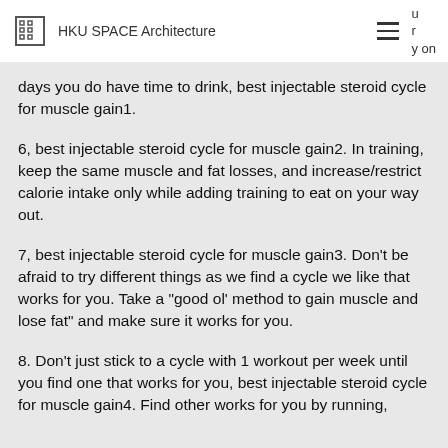HKU SPACE Architecture
days you do have time to drink, best injectable steroid cycle for muscle gain1.
6, best injectable steroid cycle for muscle gain2. In training, keep the same muscle and fat losses, and increase/restrict calorie intake only while adding training to eat on your way out.
7, best injectable steroid cycle for muscle gain3. Don't be afraid to try different things as we find a cycle we like that works for you. Take a "good ol' method to gain muscle and lose fat" and make sure it works for you.
8. Don't just stick to a cycle with 1 workout per week until you find one that works for you, best injectable steroid cycle for muscle gain4. Find other works for you by running,